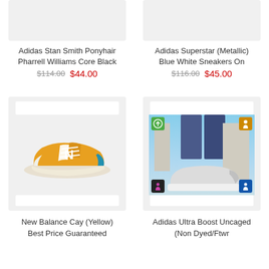[Figure (photo): Adidas Stan Smith Ponyhair product image (top, cropped)]
[Figure (photo): Adidas Superstar (Metallic) product image (top, cropped)]
Adidas Stan Smith Ponyhair Pharrell Williams Core Black
$114.00  $44.00
Adidas Superstar (Metallic) Blue White Sneakers On
$116.00  $45.00
[Figure (photo): New Balance Cay yellow sneaker product image]
[Figure (photo): Adidas Ultra Boost Uncaged product image with person wearing sneakers]
New Balance Cay (Yellow) Best Price Guaranteed
Adidas Ultra Boost Uncaged (Non Dyed/Ftwr